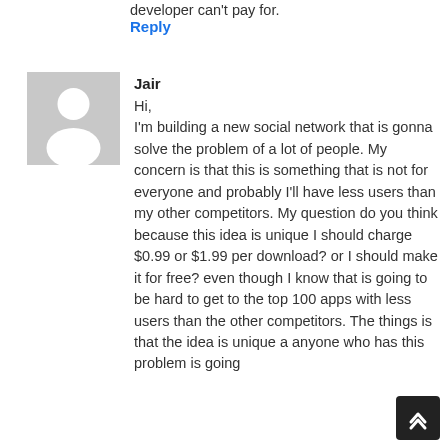developer can't pay for.
Reply
[Figure (illustration): Generic user avatar placeholder: grey square with white silhouette of a person (head and shoulders)]
Jair
Hi,
I'm building a new social network that is gonna solve the problem of a lot of people. My concern is that this is something that is not for everyone and probably I'll have less users than my other competitors. My question do you think because this idea is unique I should charge $0.99 or $1.99 per download? or I should make it for free? even though I know that is going to be hard to get to the top 100 apps with less users than the other competitors. The things is that the idea is unique a anyone who has this problem is going